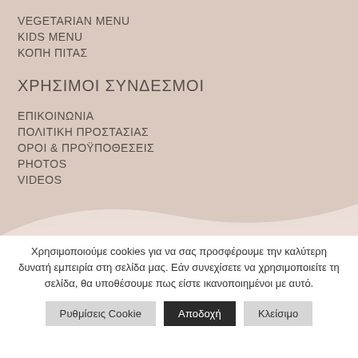VEGETARIAN MENU
KIDS MENU
ΚΟΠΗ ΠΙΤΑΣ
ΧΡΗΣΙΜΟΙ ΣΥΝΔΕΣΜΟΙ
ΕΠΙΚΟΙΝΩΝΙΑ
ΠΟΛΙΤΙΚΗ ΠΡΟΣΤΑΣΙΑΣ
ΟΡΟΙ & ΠΡΟΫΠΟΘΕΣΕΙΣ
PHOTOS
VIDEOS
Χρησιμοποιούμε cookies για να σας προσφέρουμε την καλύτερη δυνατή εμπειρία στη σελίδα μας. Εάν συνεχίσετε να χρησιμοποιείτε τη σελίδα, θα υποθέσουμε πως είστε ικανοποιημένοι με αυτό.
Ρυθμίσεις Cookie | Αποδοχή | Κλείσιμο